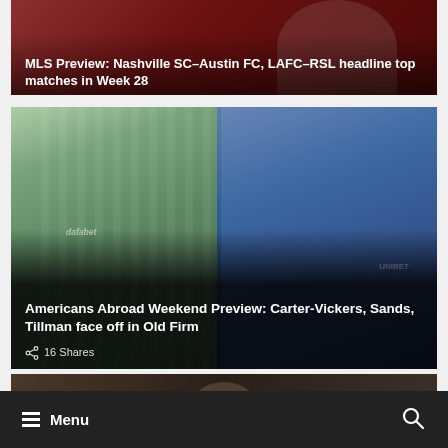[Figure (photo): Partially visible top article card with dark red/maroon background showing MLS soccer action]
MLS Preview: Nashville SC-Austin FC, LAFC-RSL headline top matches in Week 28
[Figure (photo): Two soccer players side by side — left in Celtic green/white hooped jersey with dafabet sponsor, right in Rangers blue jersey with Unibet sponsor]
Americans Abroad Weekend Preview: Carter-Vickers, Sands, Tillman face off in Old Firm
16 Shares
[Figure (photo): Partially visible bottom article card with dark brown/tan background]
Menu